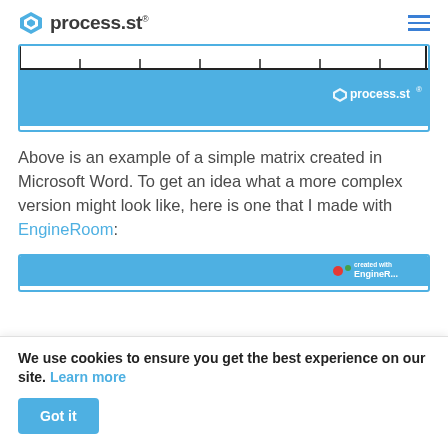process.st
[Figure (screenshot): A blue matrix/ruler graphic with process.st branding — showing a ruler element at top and a solid blue bar with the process.st logo in white on the right side.]
Above is an example of a simple matrix created in Microsoft Word. To get an idea what a more complex version might look like, here is one that I made with EngineRoom:
[Figure (screenshot): Bottom portion of a blue EngineRoom matrix image, partially visible, showing 'created with EngineRoom' text on the right side.]
We use cookies to ensure you get the best experience on our site. Learn more
Got it